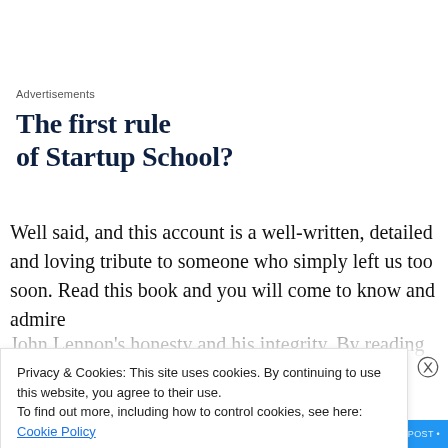Advertisements
The first rule of Startup School?
Well said, and this account is a well-written, detailed and loving tribute to someone who simply left us too soon. Read this book and you will come to know and admire
John Lennon's honesty and his integrity. By reading this
Privacy & Cookies: This site uses cookies. By continuing to use this website, you agree to their use.
To find out more, including how to control cookies, see here: Cookie Policy
Close and accept